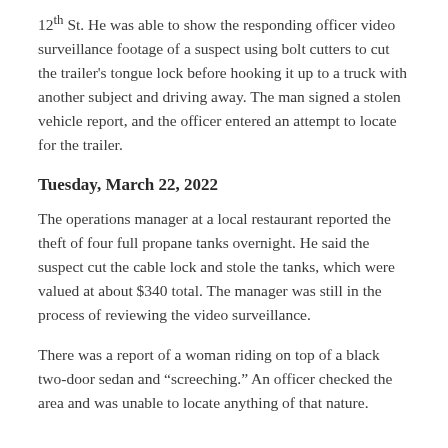12th St. He was able to show the responding officer video surveillance footage of a suspect using bolt cutters to cut the trailer's tongue lock before hooking it up to a truck with another subject and driving away. The man signed a stolen vehicle report, and the officer entered an attempt to locate for the trailer.
Tuesday, March 22, 2022
The operations manager at a local restaurant reported the theft of four full propane tanks overnight. He said the suspect cut the cable lock and stole the tanks, which were valued at about $340 total. The manager was still in the process of reviewing the video surveillance.
There was a report of a woman riding on top of a black two-door sedan and “screeching.” An officer checked the area and was unable to locate anything of that nature.